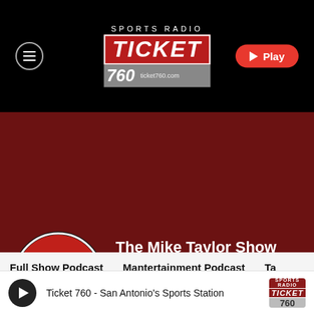[Figure (screenshot): Sports Radio Ticket 760 website header with black background, hamburger menu icon on left, Ticket 760 logo in center, and red Play button on right]
[Figure (logo): The Mike Taylor Show logo - circular badge with red M letter on black background]
The Mike Taylor Show
[Figure (infographic): Social media icons: Facebook, Twitter, YouTube]
Bio
Full Show Podcast   Mantertainment Podcast   Ta
Ticket 760 - San Antonio's Sports Station
[Figure (logo): Ticket 760 logo in player bar bottom right]